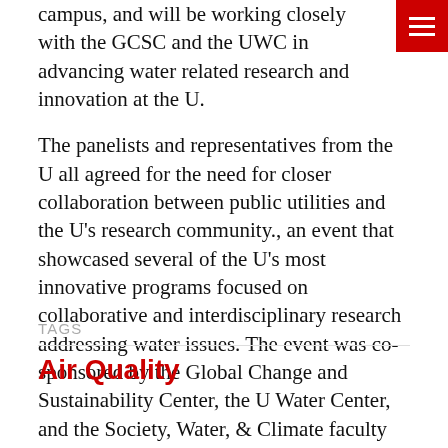campus, and will be working closely with the GCSC and the UWC in advancing water related research and innovation at the U.
The panelists and representatives from the U all agreed for the need for closer collaboration between public utilities and the U’s research community., an event that showcased several of the U’s most innovative programs focused on collaborative and interdisciplinary research addressing water issues. The event was co-sponsored by the Global Change and Sustainability Center, the U Water Center, and the Society, Water, & Climate faculty research group.
Posted in Events, News, Water Tagged events, water
TAGS
Air Quality